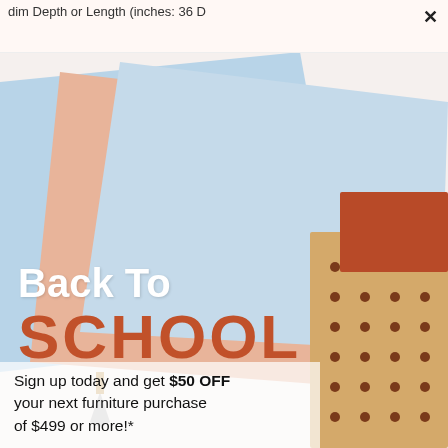dim Depth or Length (inches: 36 D
[Figure (photo): Back to school promotional image showing colorful notebooks and stationery in pastel blue, pink, peach, tan with polka dots, arranged at angles on a white background. Overlaid with 'Back To SCHOOL' text and a promotional offer.]
Back To SCHOOL
Sign up today and get $50 OFF your next furniture purchase of $499 or more!*